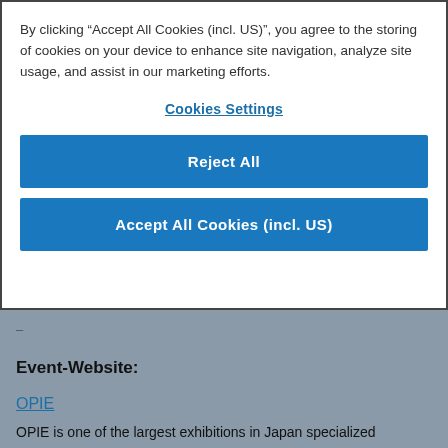By clicking “Accept All Cookies (incl. US)”, you agree to the storing of cookies on your device to enhance site navigation, analyze site usage, and assist in our marketing efforts.
Cookies Settings
Reject All
Accept All Cookies (incl. US)
–
Event-Website:
OPIE
OPIE is one of the largest exhibitions in Japan specialized